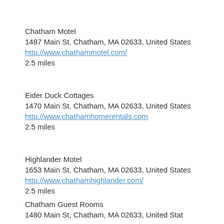Chatham Motel
1487 Main St, Chatham, MA 02633, United States
http://www.chathammotel.com/
2.5 miles
Eider Duck Cottages
1470 Main St, Chatham, MA 02633, United States
http://www.chathamhomerentals.com
2.5 miles
Highlander Motel
1653 Main St, Chatham, MA 02633, United States
http://www.chathamhighlander.com/
2.5 miles
Chatham Guest Rooms
1480 Main St, Chatham, MA 02633, United Stat...